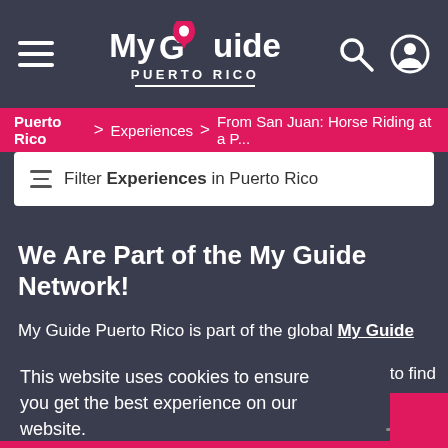My Guide PUERTO RICO
Puerto Rico > Experiences > From San Juan: Horse Riding at a P...
Filter Experiences in Puerto Rico
We Are Part of the My Guide Network!
My Guide Puerto Rico is part of the global My Guide Network of
This website uses cookies to ensure you get the best experience on our website. to find
Learn more
ss
Got it!